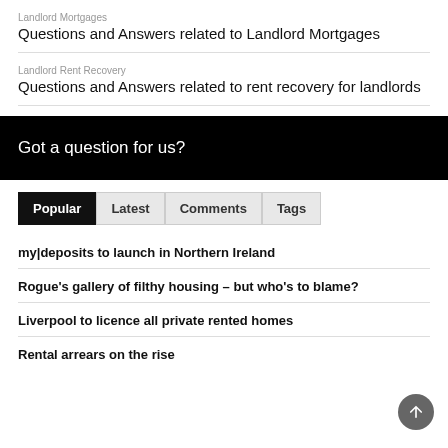Landlord Mortgages
Questions and Answers related to Landlord Mortgages
Landlord Rent Recovery
Questions and Answers related to rent recovery for landlords
[Figure (other): Black banner with white text reading 'Got a question for us?']
Popular | Latest | Comments | Tags (tab navigation)
my|deposits to launch in Northern Ireland
Rogue's gallery of filthy housing – but who's to blame?
Liverpool to licence all private rented homes
Rental arrears on the rise